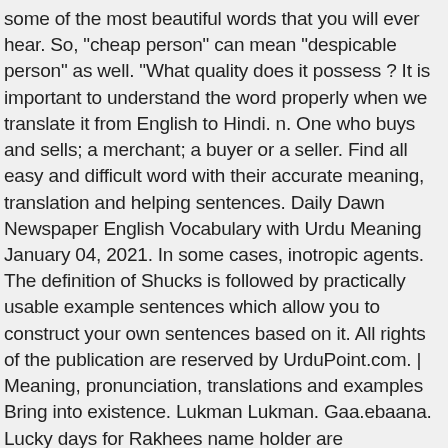some of the most beautiful words that you will ever hear. So, "cheap person" can mean "despicable person" as well. "What quality does it possess ? It is important to understand the word properly when we translate it from English to Hindi. n. One who buys and sells; a merchant; a buyer or a seller. Find all easy and difficult word with their accurate meaning, translation and helping sentences. Daily Dawn Newspaper English Vocabulary with Urdu Meaning January 04, 2021. In some cases, inotropic agents. The definition of Shucks is followed by practically usable example sentences which allow you to construct your own sentences based on it. All rights of the publication are reserved by UrduPoint.com. | Meaning, pronunciation, translations and examples Bring into existence. Lukman Lukman. Gaa.ebaana. Lucky days for Rakhees name holder are wednesday, friday, saturday. Learn more. 1,124 6 6 gold badges 14 14 silver badges 20 20 bronze badges. "He played a very well game". There are always several meanings of each word in Hindi. "Very low prices", Hapless Miserable Misfortunate Pathetic Piteous